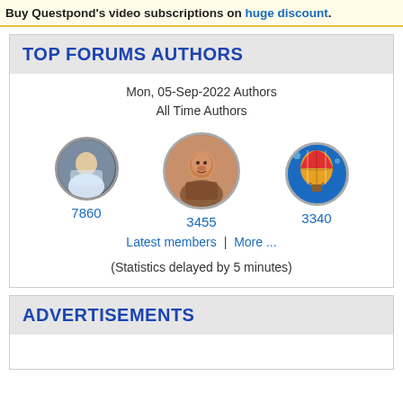Buy Questpond's video subscriptions on huge discount.
TOP FORUMS AUTHORS
Mon, 05-Sep-2022 Authors
All Time Authors
[Figure (infographic): Three circular avatar images of forum authors with scores: left avatar 7860, center avatar 3455, right avatar 3340]
Latest members | More ...
(Statistics delayed by 5 minutes)
ADVERTISEMENTS